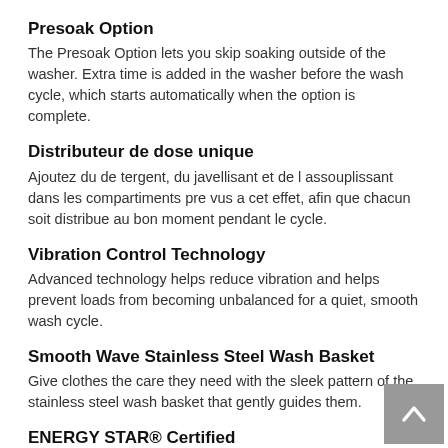Presoak Option
The Presoak Option lets you skip soaking outside of the washer. Extra time is added in the washer before the wash cycle, which starts automatically when the option is complete.
Distributeur de dose unique
Ajoutez du de tergent, du javellisant et de l assouplissant dans les compartiments pre vus a cet effet, afin que chacun soit distribue au bon moment pendant le cycle.
Vibration Control Technology
Advanced technology helps reduce vibration and helps prevent loads from becoming unbalanced for a quiet, smooth wash cycle.
Smooth Wave Stainless Steel Wash Basket
Give clothes the care they need with the sleek pattern of the stainless steel wash basket that gently guides them.
ENERGY STAR® Certified
ENERGY STAR® certified models exceed government standards to help conserve natural resources and save